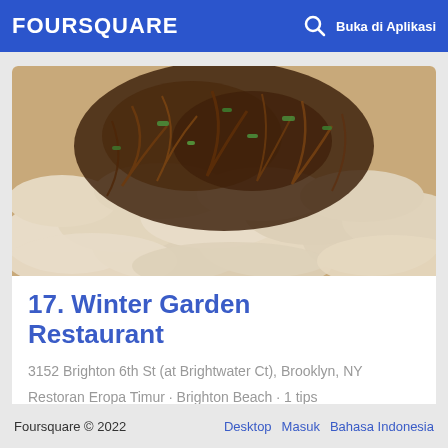FOURSQUARE  Buka di Aplikasi
[Figure (photo): Close-up photo of dumplings (pierogi) topped with caramelized onions and green herbs on a plate]
17. Winter Garden Restaurant
3152 Brighton 6th St (at Brightwater Ct), Brooklyn, NY
Restoran Eropa Timur · Brighton Beach · 1 tips
Foursquare © 2022   Desktop   Masuk   Bahasa Indonesia